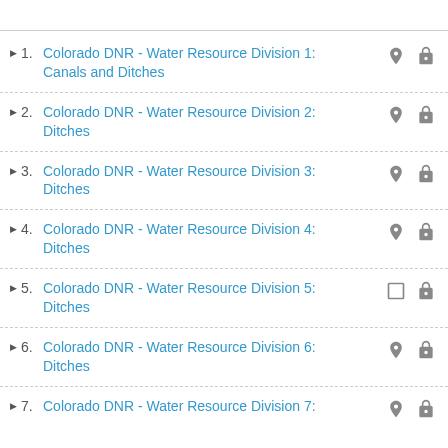1. Colorado DNR - Water Resource Division 1: Canals and Ditches
2. Colorado DNR - Water Resource Division 2: Ditches
3. Colorado DNR - Water Resource Division 3: Ditches
4. Colorado DNR - Water Resource Division 4: Ditches
5. Colorado DNR - Water Resource Division 5: Ditches
6. Colorado DNR - Water Resource Division 6: Ditches
7. Colorado DNR - Water Resource Division 7: